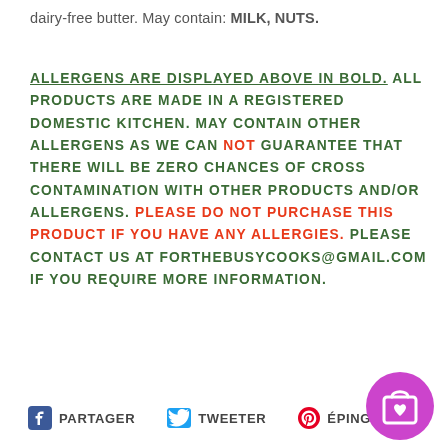dairy-free butter. May contain: MILK, NUTS.
ALLERGENS ARE DISPLAYED ABOVE IN BOLD. ALL PRODUCTS ARE MADE IN A REGISTERED DOMESTIC KITCHEN. MAY CONTAIN OTHER ALLERGENS AS WE CAN NOT GUARANTEE THAT THERE WILL BE ZERO CHANCES OF CROSS CONTAMINATION WITH OTHER PRODUCTS AND/OR ALLERGENS. PLEASE DO NOT PURCHASE THIS PRODUCT IF YOU HAVE ANY ALLERGIES. PLEASE CONTACT US AT FORTHEBUSYCOOKS@GMAIL.COM IF YOU REQUIRE MORE INFORMATION.
PARTAGER  TWEETER  ÉPINGLER